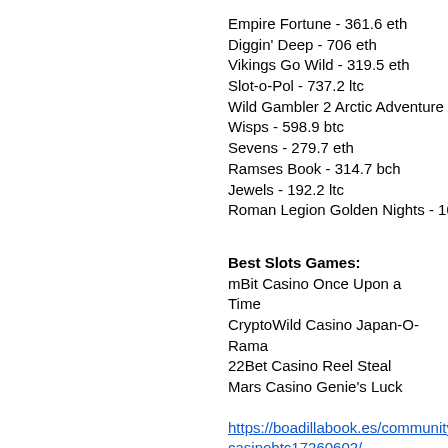Empire Fortune - 361.6 eth
Diggin' Deep - 706 eth
Vikings Go Wild - 319.5 eth
Slot-o-Pol - 737.2 ltc
Wild Gambler 2 Arctic Adventure - 187 btc
Wisps - 598.9 btc
Sevens - 279.7 eth
Ramses Book - 314.7 bch
Jewels - 192.2 ltc
Roman Legion Golden Nights - 105.3 dog
Best Slots Games:
mBit Casino Once Upon a Time
CryptoWild Casino Japan-O-Rama
22Bet Casino Reel Steal
Mars Casino Genie's Luck
https://boadillabook.es/community/profile/casinobtc17260602/
https://www.mvcc.ca/profile/slots-lv-